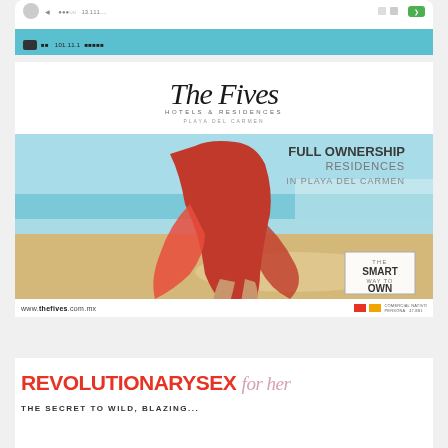[Figure (screenshot): App screenshot showing top navigation bar with car icon and blue banner]
[Figure (photo): The Fives Hotels & Residences advertisement. Logo in script font at top, beach photo with woman in red dress, text overlay: FULL OWNERSHIP RESIDENCES IN PLAYA DEL CARMEN, THE SMART WAY TO OWN box, URL www.thefives.com.mx at bottom]
REVOLUTIONARY SEX for her
THE SECRET TO WILD, BLAZING...